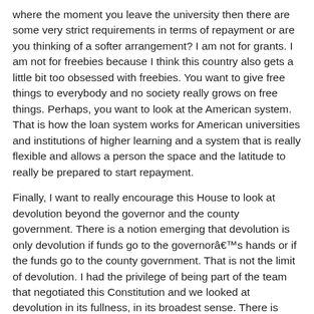where the moment you leave the university then there are some very strict requirements in terms of repayment or are you thinking of a softer arrangement? I am not for grants. I am not for freebies because I think this country also gets a little bit too obsessed with freebies. You want to give free things to everybody and no society really grows on free things. Perhaps, you want to look at the American system. That is how the loan system works for American universities and institutions of higher learning and a system that is really flexible and allows a person the space and the latitude to really be prepared to start repayment.
Finally, I want to really encourage this House to look at devolution beyond the governor and the county government. There is a notion emerging that devolution is only devolution if funds go to the governorâs hands or if the funds go to the county government. That is not the limit of devolution. I had the privilege of being part of the team that negotiated this Constitution and we looked at devolution in its fullness, in its broadest sense. There is absolutely nothing wrong for funds to leave Nairobi and go straight to the constituency. That is part of devolution and so we really need to end this debate where governors feel that for it to be devolution then it must go to a certain point provided that funds are being devolved because devolution is just---